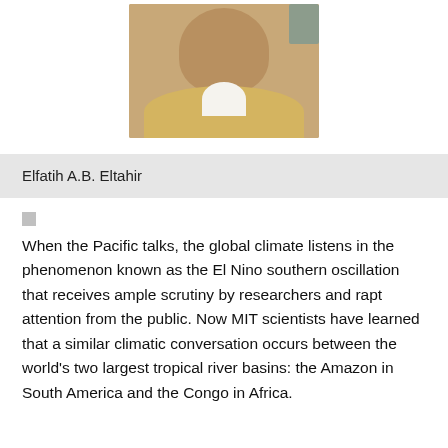[Figure (photo): Portrait photo of Elfatih A.B. Eltahir, a man wearing a beige sweater over a white collared shirt]
Elfatih A.B. Eltahir
When the Pacific talks, the global climate listens in the phenomenon known as the El Nino southern oscillation that receives ample scrutiny by researchers and rapt attention from the public. Now MIT scientists have learned that a similar climatic conversation occurs between the world's two largest tropical river basins: the Amazon in South America and the Congo in Africa.